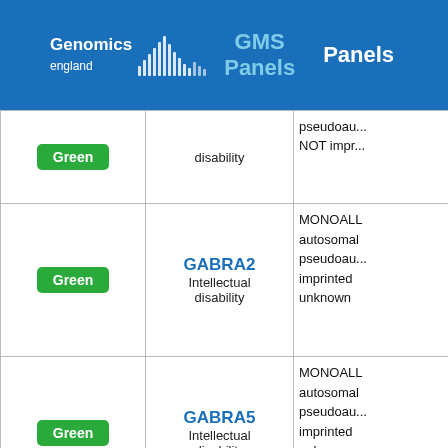Genomics England GMS Panels Panels
| Rating | Gene / Condition | Info |
| --- | --- | --- |
| Green | disability | pseudoau... NOT impr... |
| Green | GABRA2
Intellectual disability | MONOALL autosomal pseudoau imprinted unknown |
| Green | GABRA5
Intellectual disability | MONOALL autosomal pseudoau imprinted unknown |
| Green (partial) | GABRB2
autosomal | MONOALL autosomal |